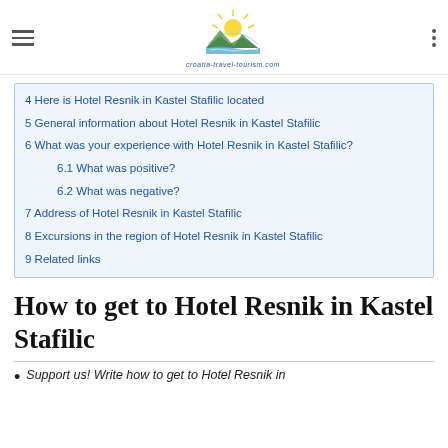croatia-travel-tourism.com logo and navigation
4 Here is Hotel Resnik in Kastel Stafilic located
5 General information about Hotel Resnik in Kastel Stafilic
6 What was your experience with Hotel Resnik in Kastel Stafilic?
6.1 What was positive?
6.2 What was negative?
7 Address of Hotel Resnik in Kastel Stafilic
8 Excursions in the region of Hotel Resnik in Kastel Stafilic
9 Related links
How to get to Hotel Resnik in Kastel Stafilic
Support us! Write how to get to Hotel Resnik in